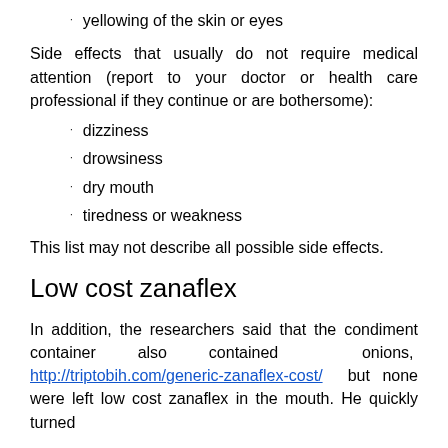yellowing of the skin or eyes
Side effects that usually do not require medical attention (report to your doctor or health care professional if they continue or are bothersome):
dizziness
drowsiness
dry mouth
tiredness or weakness
This list may not describe all possible side effects.
Low cost zanaflex
In addition, the researchers said that the condiment container also contained onions, http://triptobih.com/generic-zanaflex-cost/ but none were left low cost zanaflex in the mouth. He quickly turned